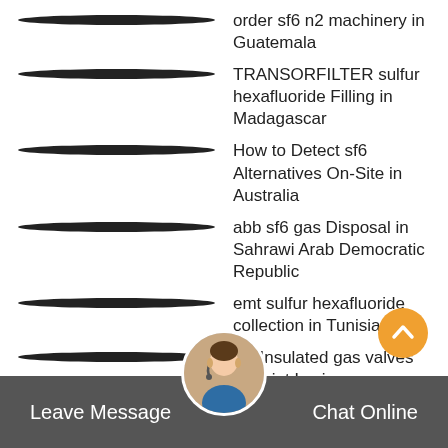order sf6 n2 machinery in Guatemala
TRANSORFILTER sulfur hexafluoride Filling in Madagascar
How to Detect sf6 Alternatives On-Site in Australia
abb sf6 gas Disposal in Sahrawi Arab Democratic Republic
emt sulfur hexafluoride collection in Tunisia
iso Insulated gas valves in Saint Lucia
how much sf6 machinery in Japan
wika sf6 mix re-use in Venezuela
new type process in Turkmenistan
Rapidox sf6 valves in Saint Lucia
ge sulfur hexafluoride Treatment in Sierra Leone
advantages of sulfur hexafluoride maintenance in Lesotho
oem machinery in Belize
Rapidox sf6 mixture Refill in Myanmar
Leave Message   Chat Online